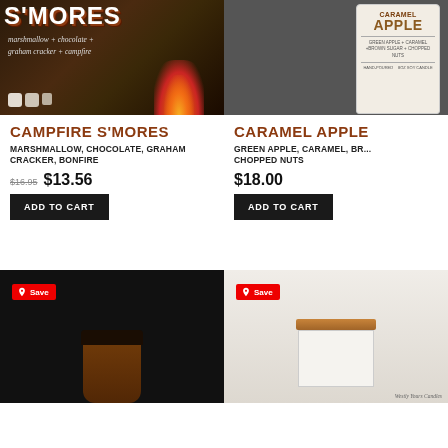[Figure (photo): Campfire S'mores candle product image with text overlay showing S'MORES and marshmallow + chocolate + graham cracker + campfire on dark background with campfire scene]
CAMPFIRE S'MORES
MARSHMALLOW, CHOCOLATE, GRAHAM CRACKER, BONFIRE
$16.95  $13.56
ADD TO CART
[Figure (photo): Caramel Apple candle jar product image on dark background showing label with APPLE text]
CARAMEL APPLE
GREEN APPLE, CARAMEL, BR... CHOPPED NUTS
$18.00
ADD TO CART
[Figure (photo): Bottom left product photo of amber candle jar with black lid on dark background with Pinterest Save badge]
[Figure (photo): Bottom right product photo of white candle with copper lid on light background with Pinterest Save badge and Westly Yours Candles text]